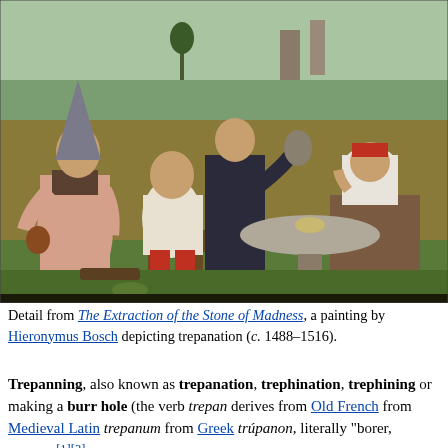[Figure (illustration): Detail from a painting showing a medieval medical scene with four figures outdoors. A man in a conical hat stands at left, a patient sits in a chair with head tilted back wearing red leggings, a dark-robed figure stands behind gesturing, and a woman wearing white head covering sits at right beside a round table. Landscape background with trees and buildings.]
Detail from The Extraction of the Stone of Madness, a painting by Hieronymus Bosch depicting trepanation (c. 1488–1516).
Trepanning, also known as trepanation, trephination, trephining or making a burr hole (the verb trepan derives from Old French from Medieval Latin trepanum from Greek trúpanon, literally "borer, auger"),[1][2] is a surgical intervention in which a